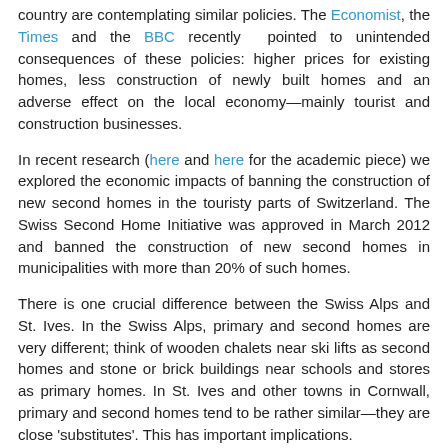country are contemplating similar policies. The Economist, the Times and the BBC recently pointed to unintended consequences of these policies: higher prices for existing homes, less construction of newly built homes and an adverse effect on the local economy—mainly tourist and construction businesses.
In recent research (here and here for the academic piece) we explored the economic impacts of banning the construction of new second homes in the touristy parts of Switzerland. The Swiss Second Home Initiative was approved in March 2012 and banned the construction of new second homes in municipalities with more than 20% of such homes.
There is one crucial difference between the Swiss Alps and St. Ives. In the Swiss Alps, primary and second homes are very different; think of wooden chalets near ski lifts as second homes and stone or brick buildings near schools and stores as primary homes. In St. Ives and other towns in Cornwall, primary and second homes tend to be rather similar—they are close 'substitutes'. This has important implications.